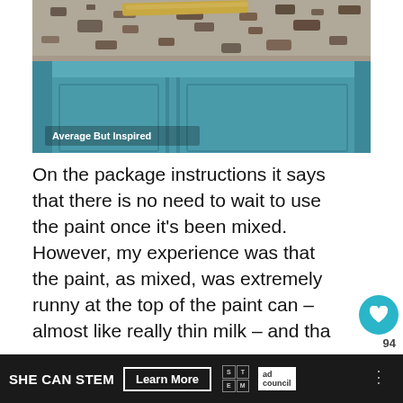[Figure (photo): Photo of teal/blue-painted kitchen cabinets beneath a granite countertop with a wood strip visible. A watermark reads 'Average But Inspired'.]
On the package instructions it says that there is no need to wait to use the paint once it's been mixed.  However, my experience was that the paint, as mixed, was extremely runny at the top of the paint can – almost like really thin milk – and tha the runny part at the top would not blend wi... the...
SHE CAN STEM   Learn More